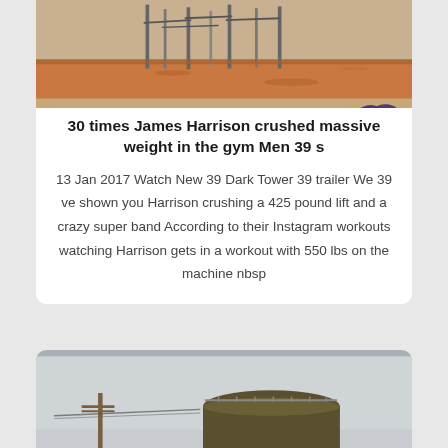[Figure (photo): Outdoor construction site with metal structures on red/brown dirt ground]
30 times James Harrison crushed massive weight in the gym Men 39 s
13 Jan 2017 Watch New 39 Dark Tower 39 trailer We 39 ve shown you Harrison crushing a 425 pound lift and a crazy super band According to their Instagram workouts watching Harrison gets in a workout with 550 lbs on the machine nbsp
[Figure (photo): Industrial water tower structure against a grey sky with telephone poles and power lines]